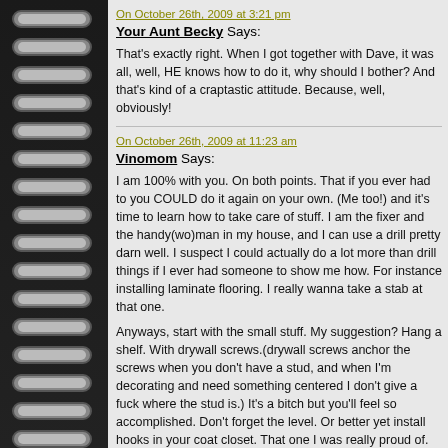On October 26th, 2009 at 3:21 pm
Your Aunt Becky Says:
That's exactly right. When I got together with Dave, it was all, well, HE knows how to do it, why should I bother? And that's kind of a craptastic attitude. Because, well, obviously!
On October 26th, 2009 at 11:23 am
Vinomom Says:
I am 100% with you. On both points. That if you ever had to you COULD do it again on your own. (Me too!) and it's time to learn how to take care of stuff. I am the fixer and the handy(wo)man in my house, and I can use a drill pretty darn well. I suspect I could actually do a lot more than drill things if I ever had someone to show me how. For instance installing laminate flooring. I really wanna take a stab at that one.
Anyways, start with the small stuff. My suggestion? Hang a shelf. With drywall screws.(drywall screws anchor the screws when you don't have a stud, and when I'm decorating and need something centered I don't give a fuck where the stud is.) It's a bitch but you'll feel so accomplished. Don't forget the level. Or better yet install hooks in your coat closet. That one I was really proud of.